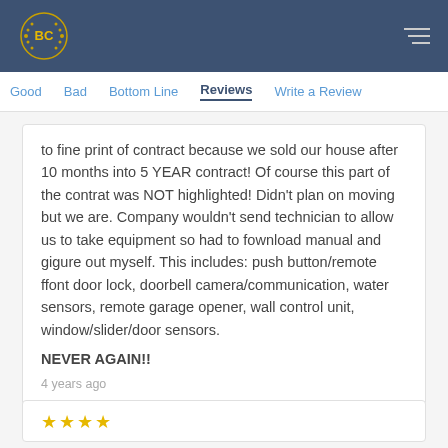BC [logo]
Good   Bad   Bottom Line   Reviews   Write a Review
to fine print of contract because we sold our house after 10 months into 5 YEAR contract! Of course this part of the contrat was NOT highlighted! Didn't plan on moving but we are. Company wouldn't send technician to allow us to take equipment so had to fownload manual and gigure out myself. This includes: push button/remote ffont door lock, doorbell camera/communication, water sensors, remote garage opener, wall control unit, window/slider/door sensors.
NEVER AGAIN!!
4 years ago